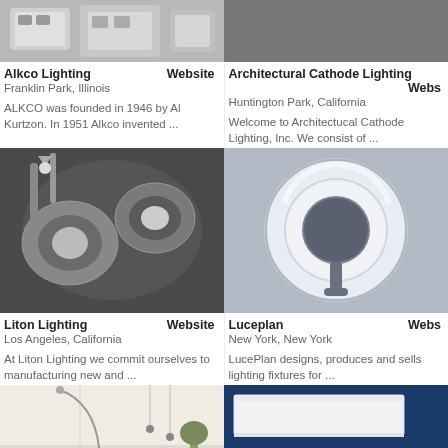[Figure (photo): Top-left partial image of lighting fixtures/switches in gray tone]
[Figure (photo): Top-right partial image, dark gray/black tone]
Alkco Lighting
Website
Franklin Park, Illinois
ALKCO was founded in 1946 by Al Kurtzon. In 1951 Alkco invented ...
Architectural Cathode Lighting
Webs
Huntington Park, California
Welcome to Architectucal Cathode Lighting, Inc. We consist of ...
[Figure (photo): Liton Lighting product photo: recessed lighting fixtures mounted on ceiling, dark background]
[Figure (photo): Luceplan product photo: circular ring light fixture viewed from below, gray background]
Liton Lighting
Website
Los Angeles, California
At Liton Lighting we commit ourselves to manufacturing new and ...
Luceplan
Webs
New York, New York
LucePlan designs, produces and sells lighting fixtures for ...
[Figure (photo): Bottom-left partial product photo: modern interior with floor lamp, light walls]
[Figure (photo): Bottom-right partial product photo: white rectangular panel against dark blue background]